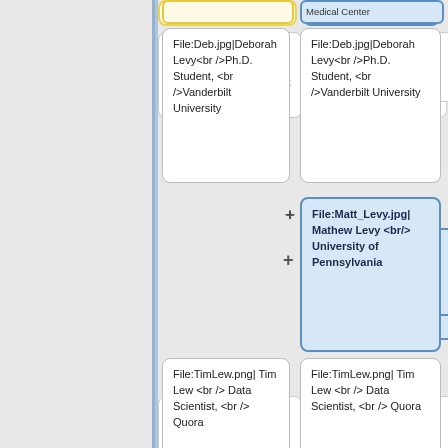File:Deb.jpg|Deborah Levy<br />Ph.D. Student, <br />Vanderbilt University
File:Deb.jpg|Deborah Levy<br />Ph.D. Student, <br />Vanderbilt University
File:Matt_Levy.jpg| Mathew Levy <br/> University of Pennsylvania
File:TimLew.png| Tim Lew <br /> Data Scientist, <br /> Quora
File:TimLew.png| Tim Lew <br /> Data Scientist, <br /> Quora
File:Effie.jpg| Effie Li <br /> Ph.D. Student, <br /> Stanford University